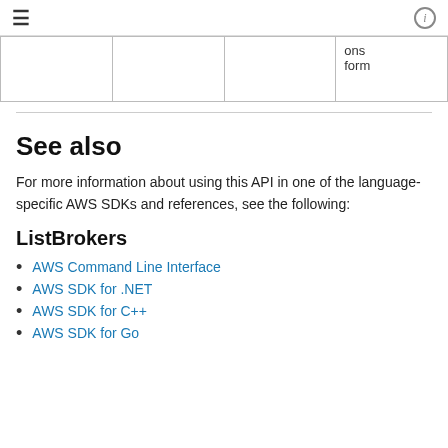≡  ⓘ
|  |  |  | ons form |
See also
For more information about using this API in one of the language-specific AWS SDKs and references, see the following:
ListBrokers
AWS Command Line Interface
AWS SDK for .NET
AWS SDK for C++
AWS SDK for Go